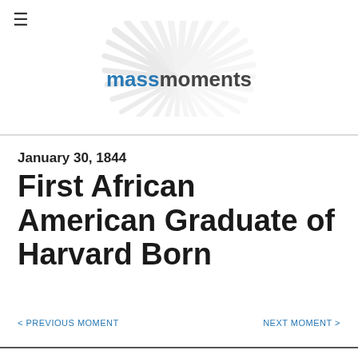[Figure (logo): Mass Moments logo with sunburst/fan rays graphic above the text 'massmoments' where 'mass' is in blue and 'moments' is in dark gray]
January 30, 1844
First African American Graduate of Harvard Born
< PREVIOUS MOMENT
NEXT MOMENT >